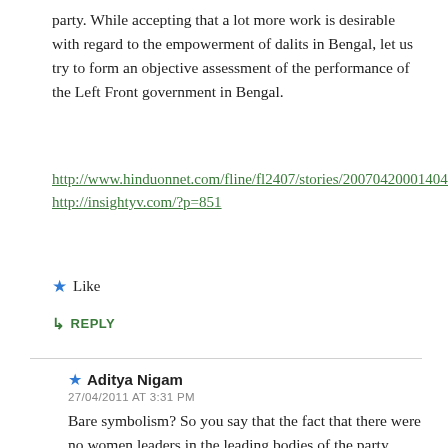party. While accepting that a lot more work is desirable with regard to the empowerment of dalits in Bengal, let us try to form an objective assessment of the performance of the Left Front government in Bengal.
http://www.hinduonnet.com/fline/fl2407/stories/20070420001404200.htm
http://insightyv.com/?p=851
★ Like
↳ REPLY
★ Aditya Nigam
27/04/2011 AT 3:31 PM
Bare symbolism? So you say that the fact that there were no women leaders in the leading bodies of the party (politburo, central committee or state